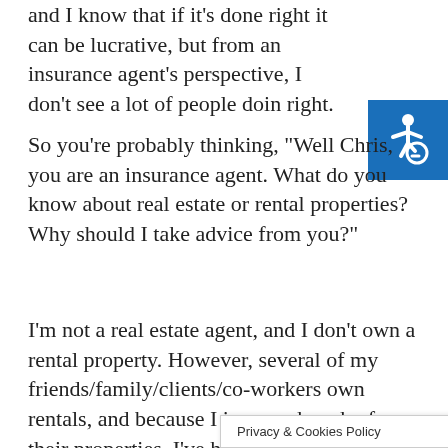and I know that if it's done right it can be lucrative, but from an insurance agent's perspective, I don't see a lot of people doing right.
[Figure (illustration): Blue square icon with white wheelchair accessibility symbol]
So you're probably thinking, "Well Chris, you are an insurance agent. What do you know about real estate or rental properties? Why should I take advice from you?"
I'm not a real estate agent, and I don't own a rental property. However, several of my friends/family/clients/co-workers own rentals, and because I insure a bunch of their properties, I've had a first hand account of the process, a to do, and what
Privacy & Cookies Policy